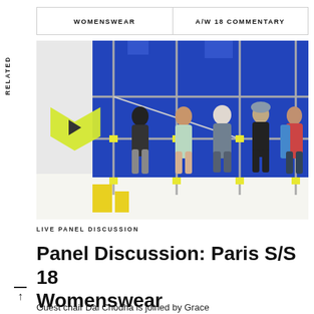WOMENSWEAR | A/W 18 COMMENTARY
RELATED
[Figure (photo): Five women seated on scaffolding in front of a blue abstract backdrop. A yellow hexagonal play button overlay is visible on the left side of the image.]
LIVE PANEL DISCUSSION
Panel Discussion: Paris S/S 18 Womenswear
Guest chair Dal Chodha is joined by Grace